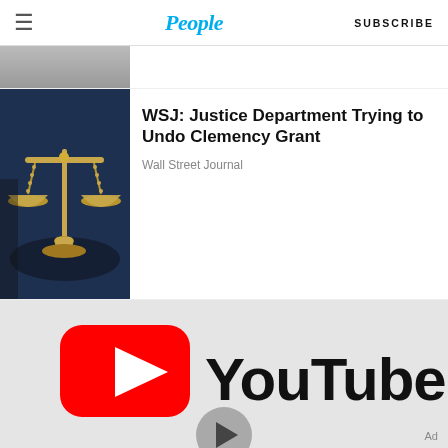People | SUBSCRIBE
[Figure (photo): Partial view of article thumbnail at top, partially cut off]
[Figure (photo): Photo of gold scales of justice on a dark blue surface]
WSJ: Justice Department Trying to Undo Clemency Grant
Wall Street Journal
[Figure (logo): YouTube logo with play button overlay, video player interface]
[Figure (illustration): Ad banner: A DEADLY NEW SERIES FROM ADALYN GRACE, purple background with flower decorations]